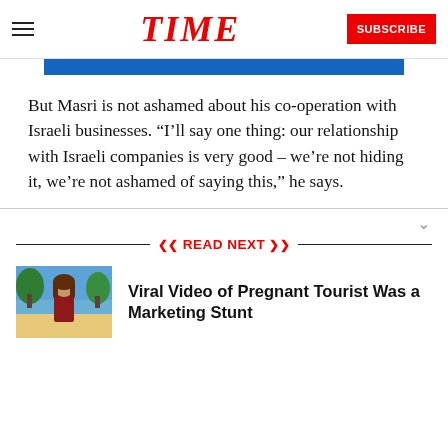TIME | SUBSCRIBE
But Masri is not ashamed about his co-operation with Israeli businesses. “I’ll say one thing: our relationship with Israeli companies is very good – we’re not hiding it, we’re not ashamed of saying this,” he says.
READ NEXT
Viral Video of Pregnant Tourist Was a Marketing Stunt
[Figure (photo): Thumbnail photo of a woman outdoors near a beach with trees in background]